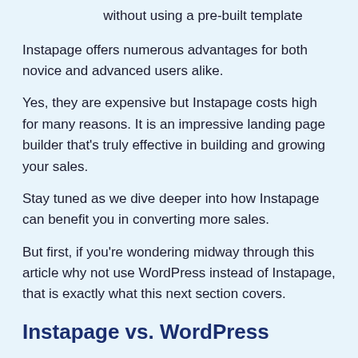without using a pre-built template
Instapage offers numerous advantages for both novice and advanced users alike.
Yes, they are expensive but Instapage costs high for many reasons. It is an impressive landing page builder that's truly effective in building and growing your sales.
Stay tuned as we dive deeper into how Instapage can benefit you in converting more sales.
But first, if you're wondering midway through this article why not use WordPress instead of Instapage, that is exactly what this next section covers.
Instapage vs. WordPress